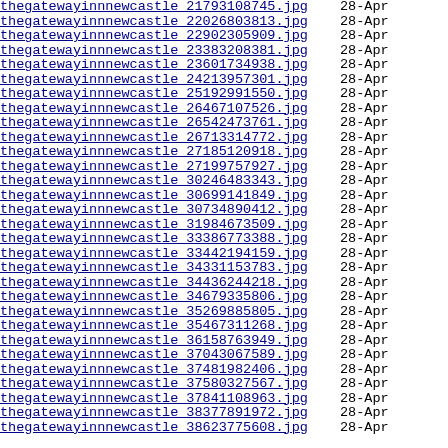thegatewayinnnewcastle 21793108745.jpg  28-Apr
thegatewayinnnewcastle 22026803813.jpg  28-Apr
thegatewayinnnewcastle 22902305909.jpg  28-Apr
thegatewayinnnewcastle 23383208381.jpg  28-Apr
thegatewayinnnewcastle 23601734938.jpg  28-Apr
thegatewayinnnewcastle 24213957301.jpg  28-Apr
thegatewayinnnewcastle 25192991550.jpg  28-Apr
thegatewayinnnewcastle 26467107526.jpg  28-Apr
thegatewayinnnewcastle 26542473761.jpg  28-Apr
thegatewayinnnewcastle 26713314772.jpg  28-Apr
thegatewayinnnewcastle 27185120918.jpg  28-Apr
thegatewayinnnewcastle 27199757927.jpg  28-Apr
thegatewayinnnewcastle 30246483343.jpg  28-Apr
thegatewayinnnewcastle 30699141849.jpg  28-Apr
thegatewayinnnewcastle 30734890412.jpg  28-Apr
thegatewayinnnewcastle 31984673509.jpg  28-Apr
thegatewayinnnewcastle 33386773388.jpg  28-Apr
thegatewayinnnewcastle 33442194159.jpg  28-Apr
thegatewayinnnewcastle 34331153783.jpg  28-Apr
thegatewayinnnewcastle 34436244218.jpg  28-Apr
thegatewayinnnewcastle 34679335806.jpg  28-Apr
thegatewayinnnewcastle 35269885805.jpg  28-Apr
thegatewayinnnewcastle 35467311268.jpg  28-Apr
thegatewayinnnewcastle 36158763949.jpg  28-Apr
thegatewayinnnewcastle 37043067589.jpg  28-Apr
thegatewayinnnewcastle 37481982406.jpg  28-Apr
thegatewayinnnewcastle 37580327567.jpg  28-Apr
thegatewayinnnewcastle 37841108963.jpg  28-Apr
thegatewayinnnewcastle 38377891972.jpg  28-Apr
thegatewayinnnewcastle 38623775608.jpg  28-Apr